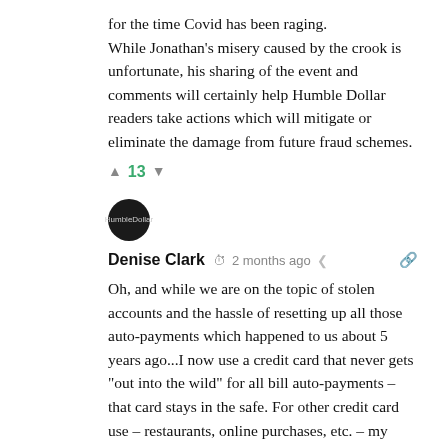for the time Covid has been raging.
While Jonathan's misery caused by the crook is unfortunate, his sharing of the event and comments will certainly help Humble Dollar readers take actions which will mitigate or eliminate the damage from future fraud schemes.
▲ 13 ▼
[Figure (illustration): Circular dark avatar icon with small text 'HumbleDollar']
Denise Clark  🕐 2 months ago  < 🔗
Oh, and while we are on the topic of stolen accounts and the hassle of resetting up all those auto-payments which happened to us about 5 years ago...I now use a credit card that never gets "out into the wild" for all bill auto-payments – that card stays in the safe. For other credit card use – restaurants, online purchases, etc. – my husband and I each have a card we use for those types of purchases. If stolen, not as big a deal as no